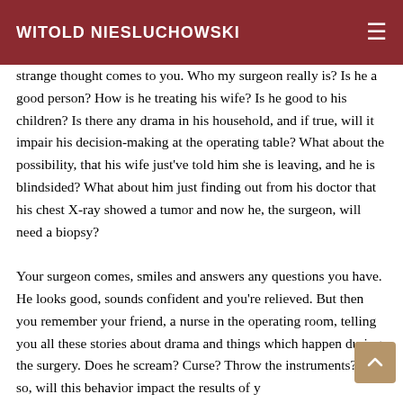WITOLD NIESLUCHOWSKI
think. You had a good night sleep and were expecting the surgeon in the waiting area before the procedure. Suddenly a strange thought comes to you. Who my surgeon really is? Is he a good person? How is he treating his wife? Is he good to his children? Is there any drama in his household, and if true, will it impair his decision-making at the operating table? What about the possibility, that his wife just've told him she is leaving, and he is blindsided? What about him just finding out from his doctor that his chest X-ray showed a tumor and now he, the surgeon, will need a biopsy?
Your surgeon comes, smiles and answers any questions you have. He looks good, sounds confident and you're relieved. But then you remember your friend, a nurse in the operating room, telling you all these stories about drama and things which happen during the surgery. Does he scream? Curse? Throw the instruments? If so, will this behavior impact the results of your surgery?